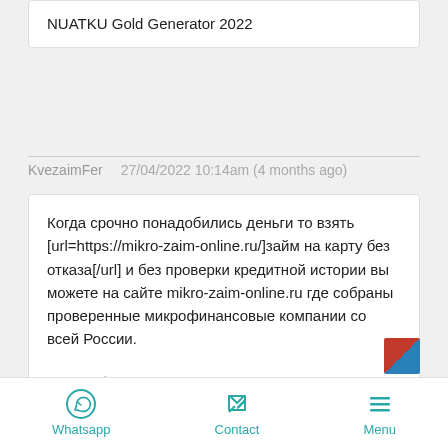NUATKU Gold Generator 2022
KvezaimFer   27/04/2022 10:14am (4 months ago)
Когда срочно понадобились деньги то взять [url=https://mikro-zaim-online.ru/]займ на карту без отказа[/url] и без проверки кредитной истории вы можете на сайте mikro-zaim-online.ru где собраны проверенные микрофинансовые компании со всей России.
Мы опубликовываем только честные МФО и МФК которые состоят в "Реестре ЦБ России" и не превышают процентную ставку 1% в сутки. Для того чтобы оформить [url=https://mikro-zaim-online.ru/]займ
Whatsapp   Contact   Menu